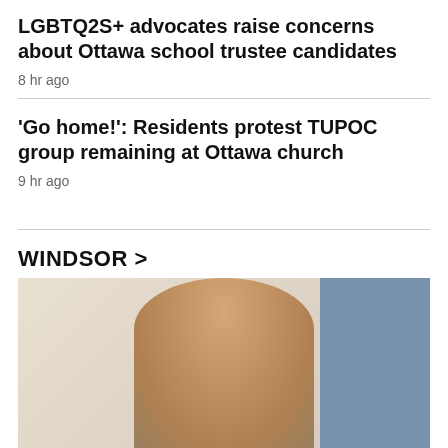LGBTQ2S+ advocates raise concerns about Ottawa school trustee candidates
8 hr ago
'Go home!': Residents protest TUPOC group remaining at Ottawa church
9 hr ago
WINDSOR >
[Figure (photo): A man sitting in what appears to be a hospital or medical room, facing the camera. He has short blond hair. Behind him is a blue curtain or panel on the right side and medical equipment with cables/wires visible.]